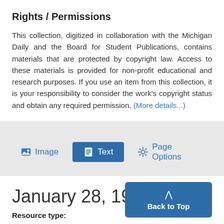Rights / Permissions
This collection, digitized in collaboration with the Michigan Daily and the Board for Student Publications, contains materials that are protected by copyright law. Access to these materials is provided for non-profit educational and research purposes. If you use an item from this collection, it is your responsibility to consider the work's copyright status and obtain any required permission. (More details...)
[Figure (screenshot): UI tab bar with Image, Text (active/highlighted), and Page Options buttons]
January 28, 1978 - Ima
Resource type: